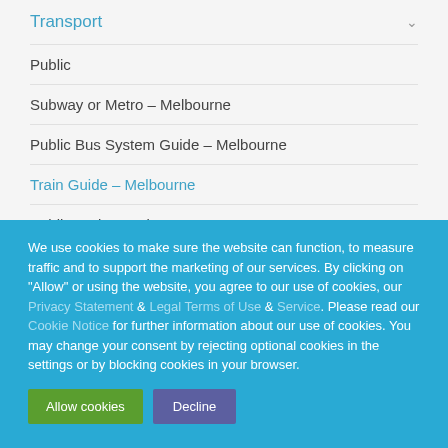Transport
Public
Subway or Metro – Melbourne
Public Bus System Guide – Melbourne
Train Guide – Melbourne
Public Taxis – Mel...
We use cookies to make sure the website can function, to measure traffic and to support the marketing of our services. By clicking on "Allow" or using the website, you agree to our use of cookies, our Privacy Statement & Legal Terms of Use & Service. Please read our Cookie Notice for further information about our use of cookies. You may change your consent by rejecting optional cookies in the settings or by blocking cookies in your browser.
Allow cookies | Decline